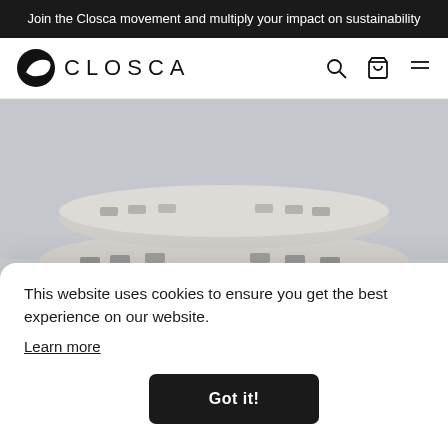Join the Closca movement and multiply your impact on sustainability
[Figure (logo): Closca logo: black circular icon with white diagonal shape, followed by 'CLOSCA' text in uppercase with wide letter-spacing]
[Figure (photo): Close-up photo of a stacked/folded helmet product in muted gray/beige tones on a light blue-gray background, showing layered rings with foam padding and a decorative band]
This website uses cookies to ensure you get the best experience on our website.
Learn more
Got it!